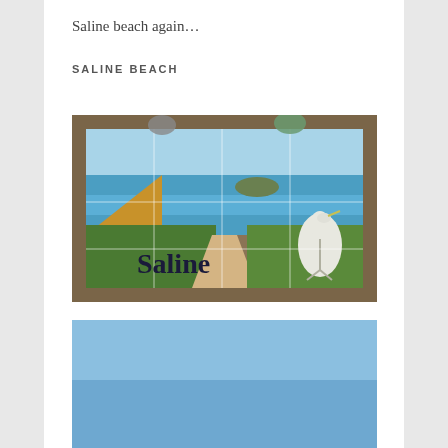Saline beach again…
SALINE BEACH
[Figure (photo): A painted tile sign for Saline beach mounted in a wooden frame on posts. The sign shows a colorful mural depicting the beach scene with turquoise water, sandy path, lush green vegetation, a hillside, a small island in the distance, and a white egret/heron bird on the right side. The word 'Saline' is painted in dark letters across the center of the tile mural.]
[Figure (photo): Partial view of a second photo showing a blue sky at the bottom of the page.]